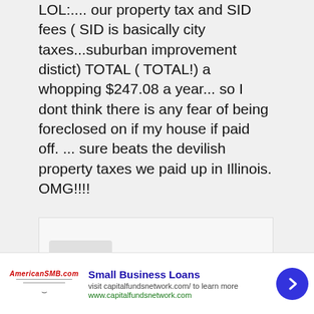LOL:.... our property tax and SID fees ( SID is basically city taxes...suburban improvement distict) TOTAL ( TOTAL!) a whopping $247.08 a year... so I dont think there is any fear of being foreclosed on if my house if paid off. ... sure beats the devilish property taxes we paid up in Illinois. OMG!!!!
[Figure (illustration): User avatar showing a cartoon frog character with a pink hat]
Kelvin says
19
[Figure (screenshot): Advertisement banner: Small Business Loans - visit capitalfundsnetwork.com/ to learn more - www.capitalfundsnetwork.com]